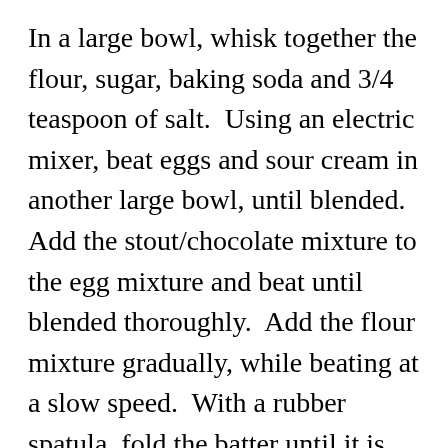In a large bowl, whisk together the flour, sugar, baking soda and 3/4 teaspoon of salt.  Using an electric mixer, beat eggs and sour cream in another large bowl, until blended.  Add the stout/chocolate mixture to the egg mixture and beat until blended thoroughly.  Add the flour mixture gradually, while beating at a slow speed.  With a rubber spatula, fold the batter until it is completely blended.
Divide the batter evenly into the cupcake liners, filling them 2/3's of the way full.  Bake cupcakes until wooden toothpick or cake tester comes out clean, about 17-18 minutes.  Cool cupcakes in baking pans for